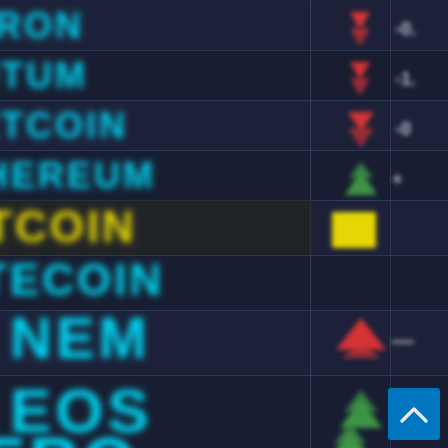[Figure (infographic): Blurred cryptocurrency price board showing coin names (TRON, QTUM, NETCOIN, ETHEREUM, BITCOIN, LITECOIN, NEM, EOS, ZERO) in cyan/yellow text against dark background, with up/down arrow indicators in red/green and price change values partially visible. A blue scroll-to-top button is in the bottom right corner.]